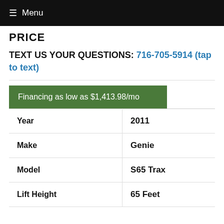≡ Menu
PRICE
TEXT US YOUR QUESTIONS: 716-705-5914 (tap to text)
| Year | 2011 |
| Make | Genie |
| Model | S65 Trax |
| Lift Height | 65 Feet |